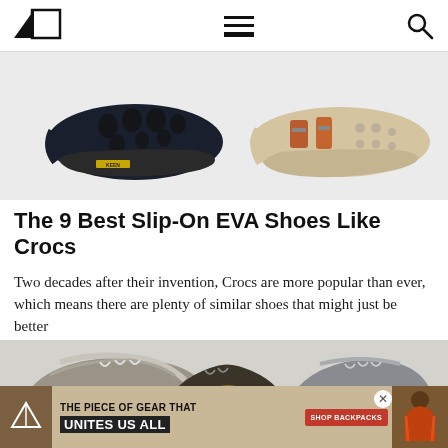Navigation header with logo, menu, and search icons
[Figure (photo): Two slip-on EVA clog shoes on gray background: left is a dark navy/black clog (Keen brand), right is a tan/beige clog with orange buckle straps]
The 9 Best Slip-On EVA Shoes Like Crocs
Two decades after their invention, Crocs are more popular than ever, which means there are plenty of similar shoes that might just be better
[Figure (photo): Three trail running/hiking shoes: left shows a Salomon branded shoe in gray/silver, center shows a yellow/black shoe from below, right shows a gray shoe with red accent sole]
[Figure (infographic): Advertisement banner: Huckberry brand logo, text 'THE PIECE OF GEAR THAT UNITES US ALL', red 'SHOP BACKPACKS' button, photo of person in outdoor gear, close button X]